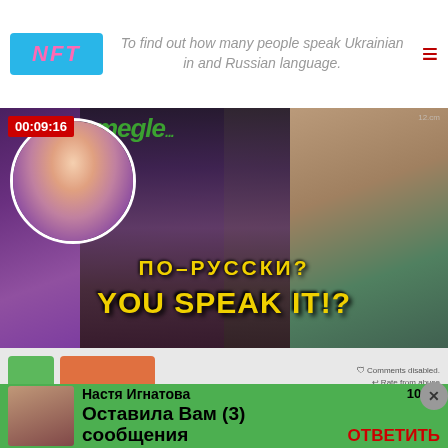NFT — To find out how many people speak Ukrainian and Russian language
[Figure (screenshot): Video thumbnail showing two young women on Omegle on the left and a Black American man with headphones on the right. Overlaid text in yellow reads 'ПО-РУССКИ? YOU SPEAK IT!?' and a red timestamp box shows '00:09:16'. Below the video are green and orange UI buttons.]
BLACK AMERICAN SHOCKS STRANGERS SPEAKING 10 LANGUAGES ON OMEGLE
[Figure (screenshot): Green notification overlay at the bottom showing a message from 'Настя Игнатова' saying 'Оставила Вам (3) сообщения' with time 10:05 and a red ОТВЕТИТЬ (reply) button.]